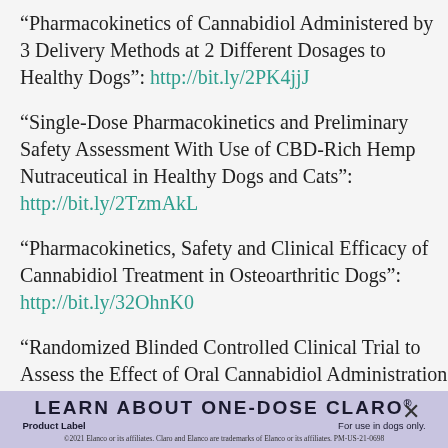“Pharmacokinetics of Cannabidiol Administered by 3 Delivery Methods at 2 Different Dosages to Healthy Dogs”: http://bit.ly/2PK4jjJ
“Single-Dose Pharmacokinetics and Preliminary Safety Assessment With Use of CBD-Rich Hemp Nutraceutical in Healthy Dogs and Cats”: http://bit.ly/2TzmAkL
“Pharmacokinetics, Safety and Clinical Efficacy of Cannabidiol Treatment in Osteoarthritic Dogs”: http://bit.ly/32OhnK0
“Randomized Blinded Controlled Clinical Trial to Assess the Effect of Oral Cannabidiol Administration in Addition to Conventional Antiepileptic Treatment on Seizure Frequency in Dogs
[Figure (infographic): Advertisement banner: LEARN ABOUT ONE-DOSE CLARO with a close X button. Subtitle: Product Label | For use in dogs only. Footnote: ©2021 Elanco or its affiliates. Claro and Elanco are trademarks of Elanco or its affiliates. PM-US-21-0698]